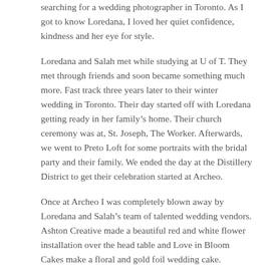searching for a wedding photographer in Toronto. As I got to know Loredana, I loved her quiet confidence, kindness and her eye for style.
Loredana and Salah met while studying at U of T. They met through friends and soon became something much more. Fast track three years later to their winter wedding in Toronto. Their day started off with Loredana getting ready in her family’s home. Their church ceremony was at, St. Joseph, The Worker. Afterwards, we went to Preto Loft for some portraits with the bridal party and their family. We ended the day at the Distillery District to get their celebration started at Archeo.
Once at Archeo I was completely blown away by Loredana and Salah’s team of talented wedding vendors. Ashton Creative made a beautiful red and white flower installation over the head table and Love in Bloom Cakes make a floral and gold foil wedding cake.
To...